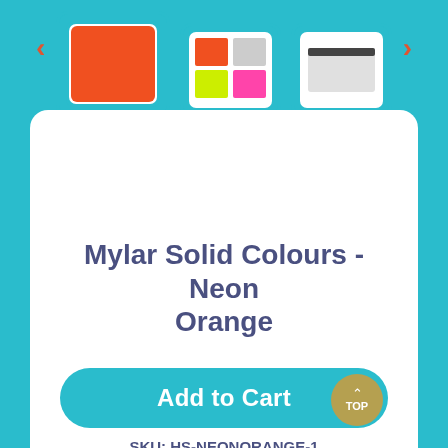[Figure (screenshot): Product image thumbnail strip showing three thumbnails: neon orange solid mylar, multicolour mylar swatches, and a grey/white product image. Navigation arrows on left and right.]
Mylar Solid Colours - Neon Orange
$3.00 $5.00
SKU: HS-NEONORANGE-1
Qty
1
Add to Cart